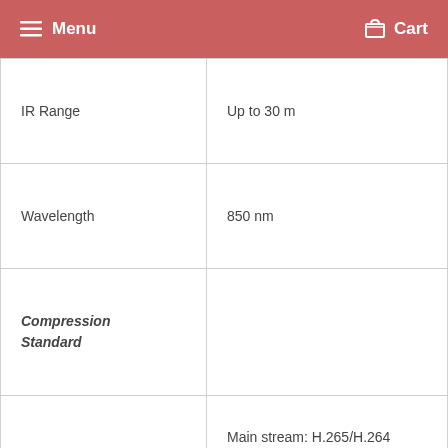Menu  Cart
| IR Range | Up to 30 m |
| Wavelength | 850 nm |
| Compression Standard |  |
| Video Compression | Main stream: H.265/H.264
Sub-stream: H.265/H.264/MJPEG |
| H.264 Type | Baseline Profile/Main Profile/High Profile |